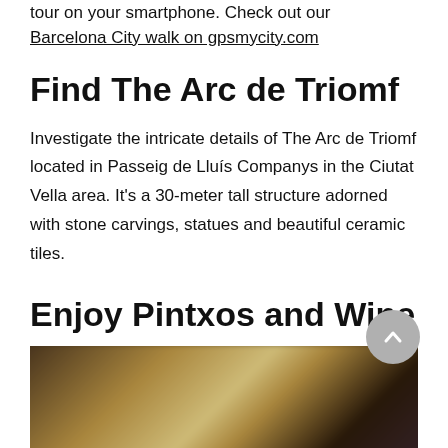tour on your smartphone. Check out our
Barcelona City walk on gpsmycity.com
Find The Arc de Triomf
Investigate the intricate details of The Arc de Triomf located in Passeig de Lluís Companys in the Ciutat Vella area. It's a 30-meter tall structure adorned with stone carvings, statues and beautiful ceramic tiles.
Enjoy Pintxos and Wine
[Figure (photo): Blurred photo of a person eating or drinking, with warm bokeh lighting in a restaurant setting]